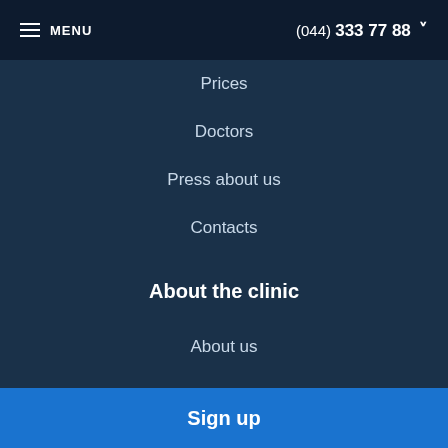≡ MENU   (044) 333 77 88 ˅
Prices
Doctors
Press about us
Contacts
About the clinic
About us
FAQ
News
Sign up